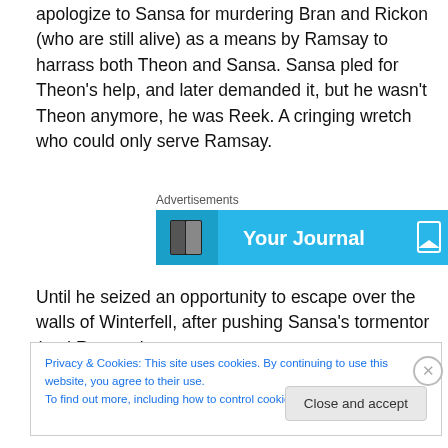apologize to Sansa for murdering Bran and Rickon (who are still alive) as a means by Ramsay to harrass both Theon and Sansa. Sansa pled for Theon's help, and later demanded it, but he wasn't Theon anymore, he was Reek. A cringing wretch who could only serve Ramsay.
Advertisements
[Figure (other): Advertisement banner with cyan/blue background showing 'Your Journal' text with a book icon and bookmark icon]
Until he seized an opportunity to escape over the walls of Winterfell, after pushing Sansa's tormentor (and Ramsay's
Privacy & Cookies: This site uses cookies. By continuing to use this website, you agree to their use.
To find out more, including how to control cookies, see here: Cookie Policy
Close and accept